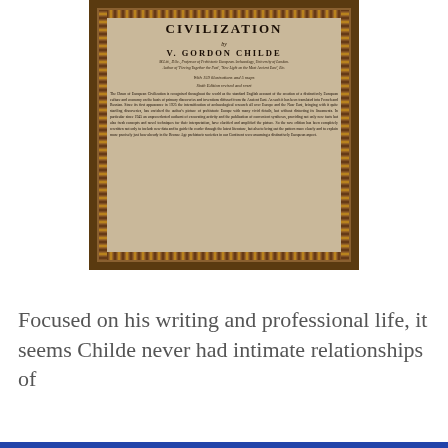[Figure (photo): Book cover of 'The Dawn of European Civilization' by V. Gordon Childe. Beige/tan colored cover with ornate decorative border. Shows author name, credentials, edition information (With 159 illustrations and 5 maps, Sixth Edition revised and reset), and descriptive text about the book.]
Focused on his writing and professional life, it seems Childe never had intimate relationships of